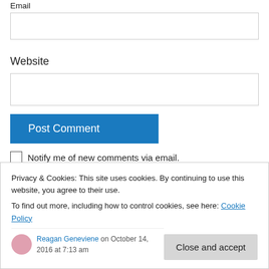Email
Website
Post Comment
Notify me of new comments via email.
Notify me of new posts via email.
Privacy & Cookies: This site uses cookies. By continuing to use this website, you agree to their use.
To find out more, including how to control cookies, see here: Cookie Policy
Close and accept
Reagan Geneviene on October 14, 2016 at 7:13 am